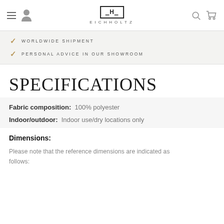EICHHOLTZ
WORLDWIDE SHIPMENT
PERSONAL ADVICE IN OUR SHOWROOM
SPECIFICATIONS
Fabric composition: 100% polyester
Indoor/outdoor: Indoor use/dry locations only
Dimensions:
Please note that the reference dimensions are indicated as follows: